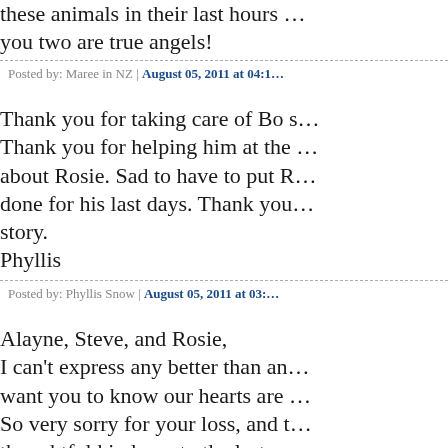these animals in their last hours … you two are true angels!
Posted by: Maree in NZ | August 05, 2011 at 04:1…
Thank you for taking care of Bo s… Thank you for helping him at the … about Rosie. Sad to have to put R… done for his last days. Thank you… story.
Phyllis
Posted by: Phyllis Snow | August 05, 2011 at 03:…
Alayne, Steve, and Rosie,
I can't express any better than an… want you to know our hearts are … So very sorry for your loss, and t… thoughtful kindness to the last se…